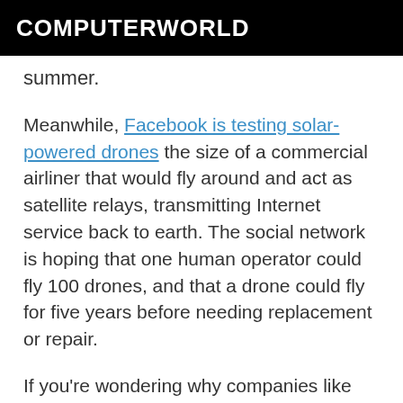COMPUTERWORLD
summer.
Meanwhile, Facebook is testing solar-powered drones the size of a commercial airliner that would fly around and act as satellite relays, transmitting Internet service back to earth. The social network is hoping that one human operator could fly 100 drones, and that a drone could fly for five years before needing replacement or repair.
If you're wondering why companies like Google or Facebook would care so much about helping more people at home and abroad get online, well, it depends how optimistic you are. Facebook helms Internet.org, a corporate activism group that